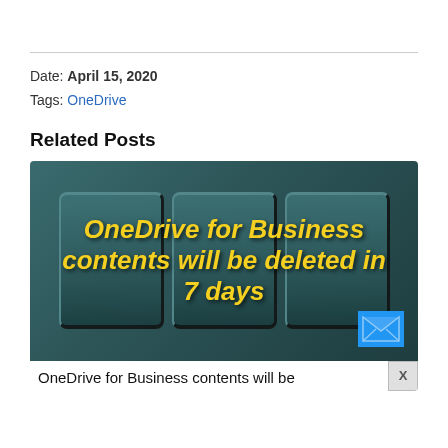Date: April 15, 2020
Tags: OneDrive
Related Posts
[Figure (screenshot): Screenshot thumbnail showing keyboard keys with overlay text 'OneDrive for Business contents will be deleted in 7 days' in yellow italic bold font, with a blue email icon badge in bottom right corner.]
OneDrive for Business contents will be